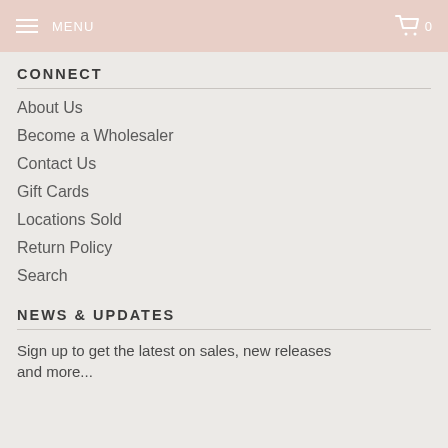MENU  0
CONNECT
About Us
Become a Wholesaler
Contact Us
Gift Cards
Locations Sold
Return Policy
Search
NEWS & UPDATES
Sign up to get the latest on sales, new releases and more...